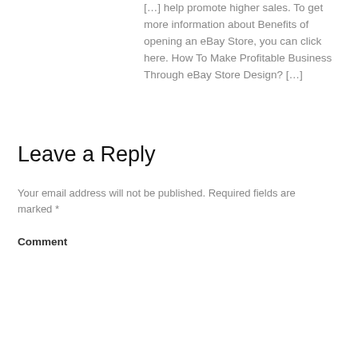[…] help promote higher sales. To get more information about Benefits of opening an eBay Store, you can click here. How To Make Profitable Business Through eBay Store Design? […]
Leave a Reply
Your email address will not be published. Required fields are marked *
Comment